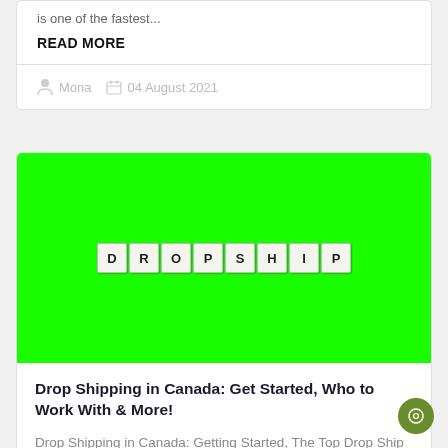is one of the fastest...
READ MORE
Mona   04 August 2021
[Figure (photo): Green background image with scrabble tiles spelling DROPSHIP in the center]
Drop Shipping in Canada: Get Started, Who to Work With & More!
Drop Shipping in Canada: Getting Started, The Top Drop Ship